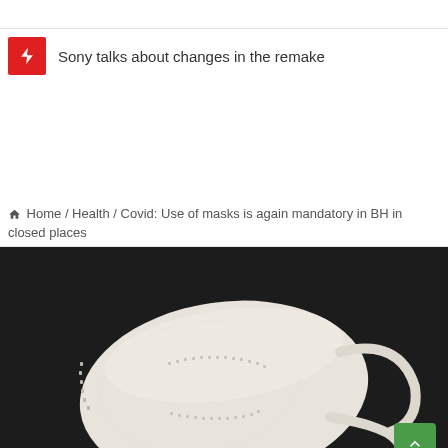Sony talks about changes in the remake
Home / Health / Covid: Use of masks is again mandatory in BH in closed places
[Figure (photo): A white KN95/FFP2 face mask lying on a dark background, viewed from above. The mask shows characteristic stitching lines and elastic ear loops.]